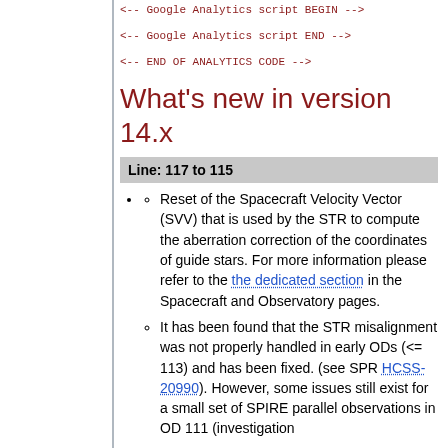<-- Google Analytics script BEGIN -->
<-- Google Analytics script END -->
<-- END OF ANALYTICS CODE -->
What's new in version 14.x
Line: 117 to 115
Reset of the Spacecraft Velocity Vector (SVV) that is used by the STR to compute the aberration correction of the coordinates of guide stars. For more information please refer to the the dedicated section in the Spacecraft and Observatory pages.
It has been found that the STR misalignment was not properly handled in early ODs (<= 113) and has been fixed. (see SPR HCSS-20990). However, some issues still exist for a small set of SPIRE parallel observations in OD 111 (investigation